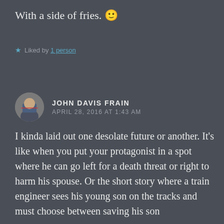With a side of fries. 🙂
★ Liked by 1 person
JOHN DAVIS FRAIN
APRIL 28, 2016 AT 1:43 AM
I kinda laid out one desolate future or another. It's like when you put your protagonist in a spot where he can go left for a death threat or right to harm his spouse. Or the short story where a train engineer sees his young son on the tracks and must choose between saving his son